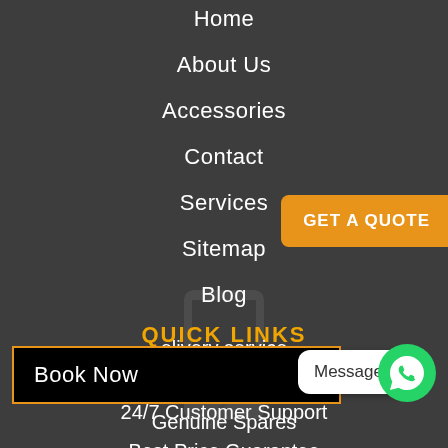Home
About Us
Accessories
Contact
Services
Sitemap
Blog
QUICK LINKS
Quality Repairs
24/7 Customer Support
Best Price Guarantee
elivery service
Genuine Spares
GET A QUOTE
Book Now
Message us